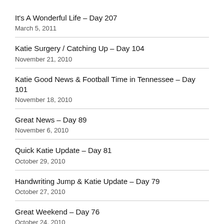It's A Wonderful Life – Day 207
March 5, 2011
Katie Surgery / Catching Up – Day 104
November 21, 2010
Katie Good News & Football Time in Tennessee – Day 101
November 18, 2010
Great News – Day 89
November 6, 2010
Quick Katie Update – Day 81
October 29, 2010
Handwriting Jump & Katie Update – Day 79
October 27, 2010
Great Weekend – Day 76
October 24, 2010